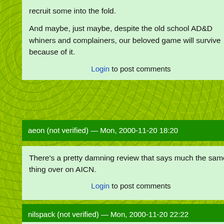recruit some into the fold.

And maybe, just maybe, despite the old school AD&D whiners and complainers, our beloved game will survive because of it.
Login to post comments
aeon (not verified) — Mon, 2000-11-20 18:20
There's a pretty damning review that says much the same thing over on AICN.
Login to post comments
nilspack (not verified) — Mon, 2000-11-20 22:22